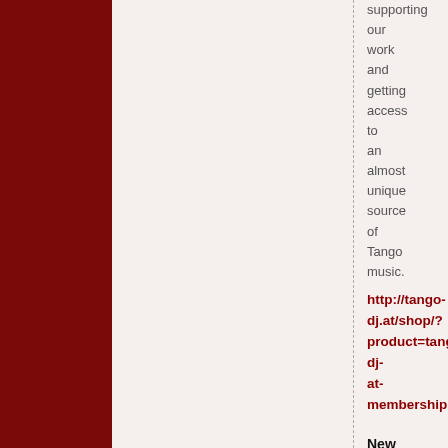supporting our work and getting access to an almost unique source of Tango music.
http://tango-dj.at/shop/?product=tango-dj-at-membership
New TANGO-DJ.AT Releases
ORQUESTA TIPICA VICTOR 1940-